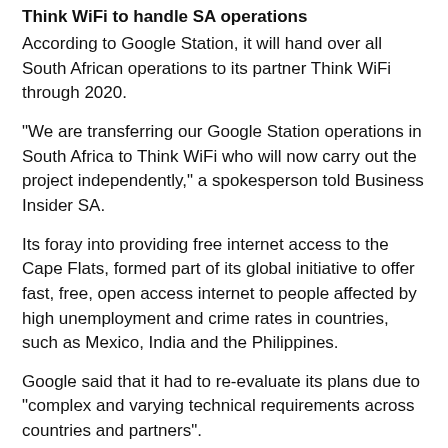Think WiFi to handle SA operations
According to Google Station, it will hand over all South African operations to its partner Think WiFi through 2020.
“We are transferring our Google Station operations in South Africa to Think WiFi who will now carry out the project independently,” a spokesperson told Business Insider SA.
Its foray into providing free internet access to the Cape Flats, formed part of its global initiative to offer fast, free, open access internet to people affected by high unemployment and crime rates in countries, such as Mexico, India and the Philippines.
Google said that it had to re-evaluate its plans due to “complex and varying technical requirements across countries and partners”.
“Since we first started, the ecosystem has evolved and combined with complex and varying technical requirements across countries and partners, we have been re-evaluating our plans and have decided to wind down Station through 2020,” said Google South Africa.
“We’ll work with Think WiFi on a plan to transition the service to